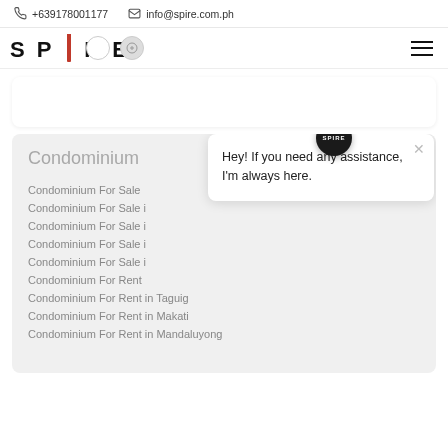+639178001177  info@spire.com.ph
[Figure (logo): SPIRE logo with red tower building icon between SP and IRE]
Condominium
Condominium For Sale
Condominium For Sale i...
Condominium For Sale i...
Condominium For Sale i...
Condominium For Sale i...
Condominium For Rent
Condominium For Rent in Taguig
Condominium For Rent in Makati
Condominium For Rent in Mandaluyong
Hey! If you need any assistance, I'm always here.